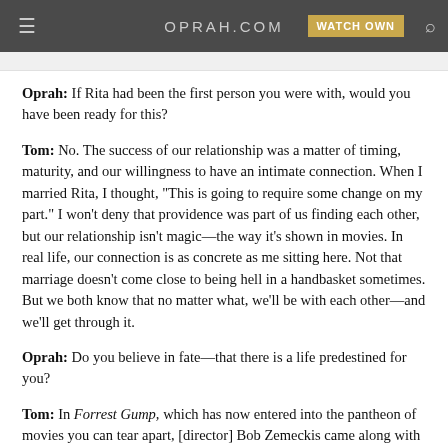OPRAH.COM
Oprah: If Rita had been the first person you were with, would you have been ready for this?
Tom: No. The success of our relationship was a matter of timing, maturity, and our willingness to have an intimate connection. When I married Rita, I thought, "This is going to require some change on my part." I won't deny that providence was part of us finding each other, but our relationship isn't magic—the way it's shown in movies. In real life, our connection is as concrete as me sitting here. Not that marriage doesn't come close to being hell in a handbasket sometimes. But we both know that no matter what, we'll be with each other—and we'll get through it.
Oprah: Do you believe in fate—that there is a life predestined for you?
Tom: In Forrest Gump, which has now entered into the pantheon of movies you can tear apart, [director] Bob Zemeckis came along with this thing about whether each of us is a feather floating along in a breeze—and I think